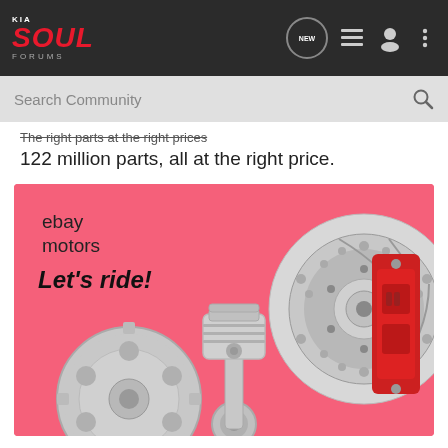KIA SOUL FORUMS
Search Community
The right parts at the right prices
122 million parts, all at the right price.
[Figure (illustration): eBay Motors advertisement banner with pink background showing car parts (brake disc with red caliper, piston with connecting rod and gear/sprocket). Text reads 'ebay motors' and 'Let's ride!']